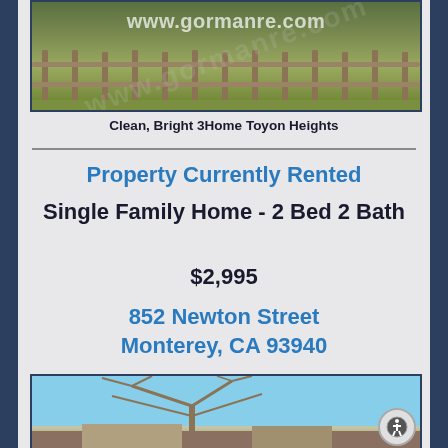[Figure (photo): Outdoor photograph of a property with a wooden fence and green vegetation, watermarked with www.gormanre.com]
Clean, Bright 3Home Toyon Heights
Property Currently Rented
Single Family Home - 2 Bed 2 Bath
$2,995
852 Newton Street Monterey, CA 93940
[Figure (photo): Outdoor photograph of a bare-branched tree against a blue sky, partial view of a building below]